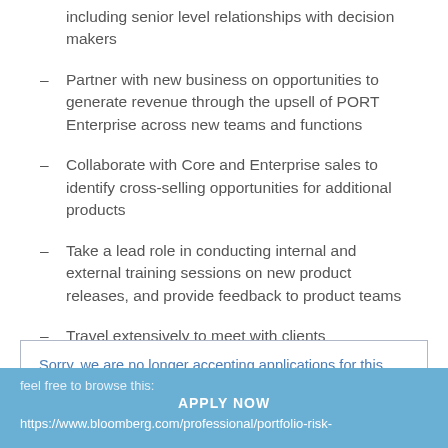including senior level relationships with decision makers
Partner with new business on opportunities to generate revenue through the upsell of PORT Enterprise across new teams and functions
Collaborate with Core and Enterprise sales to identify cross-selling opportunities for additional products
Take a lead role in conducting internal and external training sessions on new product releases, and provide feedback to product teams
Travel extensively to meet with clients
If this sounds like you:
Sorry, we are no longer accepting applications for this job.
feel free to browse this:
APPLY NOW
https://www.bloomberg.com/professional/portfolio-risk-